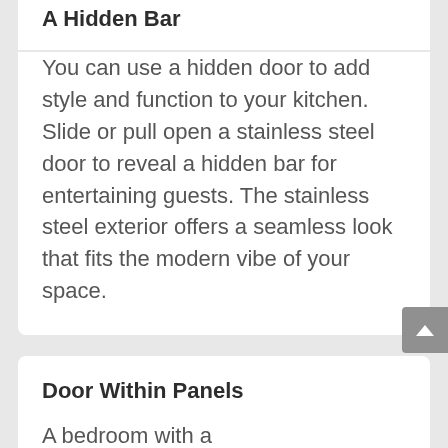A Hidden Bar
You can use a hidden door to add style and function to your kitchen. Slide or pull open a stainless steel door to reveal a hidden bar for entertaining guests. The stainless steel exterior offers a seamless look that fits the modern vibe of your space.
Door Within Panels
A bedroom with a paneled wall is the